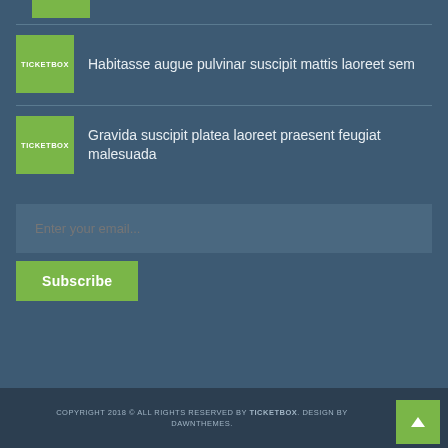[Figure (logo): Partial green TICKETBOX thumbnail at top]
Habitasse augue pulvinar suscipit mattis laoreet sem
Gravida suscipit platea laoreet praesent feugiat malesuada
Enter your email...
Subscribe
COPYRIGHT 2018 © ALL RIGHTS RESERVED BY TICKETBOX. DESIGN BY DAWNTHEMES.